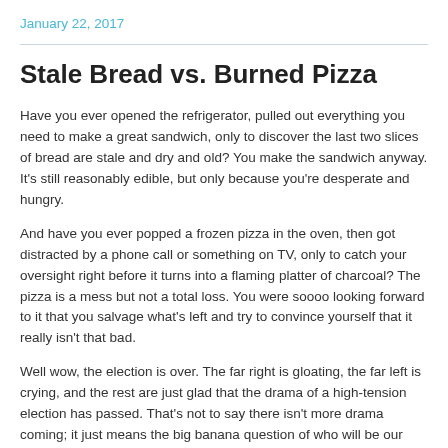January 22, 2017
Stale Bread vs. Burned Pizza
Have you ever opened the refrigerator, pulled out everything you need to make a great sandwich, only to discover the last two slices of bread are stale and dry and old? You make the sandwich anyway. It's still reasonably edible, but only because you're desperate and hungry.
And have you ever popped a frozen pizza in the oven, then got distracted by a phone call or something on TV, only to catch your oversight right before it turns into a flaming platter of charcoal? The pizza is a mess but not a total loss. You were soooo looking forward to it that you salvage what's left and try to convince yourself that it really isn't that bad.
Well wow, the election is over. The far right is gloating, the far left is crying, and the rest are just glad that the drama of a high-tension election has passed. That's not to say there isn't more drama coming; it just means the big banana question of who will be our next President has been answered. Buried in the mind numbing details is what will